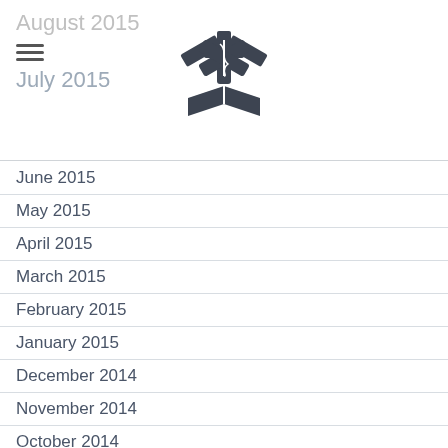August 2015
July 2015
[Figure (logo): Medical Star of Life with open book logo, dark gray]
June 2015
May 2015
April 2015
March 2015
February 2015
January 2015
December 2014
November 2014
October 2014
September 2014